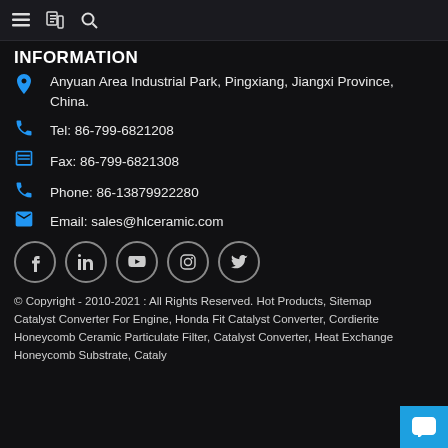☰  📋  🔍
INFORMATION
Anyuan Area Industrial Park, Pingxiang, Jiangxi Province, China.
Tel: 86-799-6821208
Fax: 86-799-6821308
Phone: 86-13879922280
Email: sales@hlceramic.com
[Figure (other): Social media icons: Facebook, LinkedIn, YouTube, Instagram, Twitter]
© Copyright - 2010-2021 : All Rights Reserved. Hot Products, Sitemap
Catalyst Converter For Engine, Honda Fit Catalyst Converter, Cordierite Honeycomb Ceramic Particulate Filter, Catalyst Converter, Heat Exchange Honeycomb Substrate, Cataly...